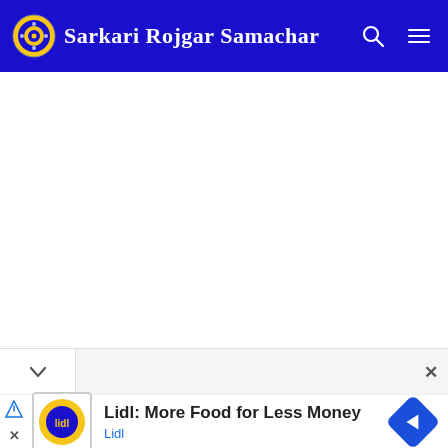Sarkari Rojgar Samachar
[Figure (screenshot): Webpage screenshot of Sarkari Rojgar Samachar website with blue navigation bar, white content area, and a Lidl advertisement at the bottom]
Lidl: More Food for Less Money
Lidl